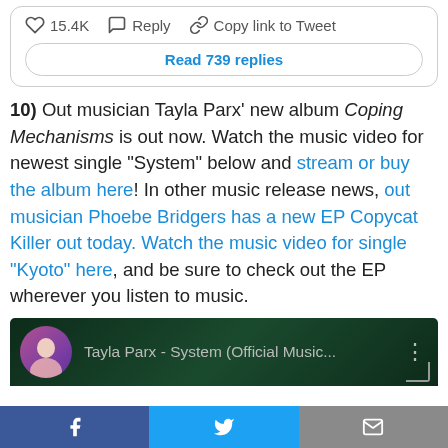15.4K  Reply  Copy link to Tweet
Read 739 replies
10) Out musician Tayla Parx' new album Coping Mechanisms is out now. Watch the music video for newest single "System" below and stream or buy the album here! In other music release news, out musician Phoebe Bridgers has a new EP Copycat Killer out today. Watch the music video for single "Kyoto" here, and be sure to check out the EP wherever you listen to music.
[Figure (screenshot): Tayla Parx - System (Official Music Video) thumbnail with dark green background and circular avatar]
f  [Twitter bird icon]  [Mail icon]